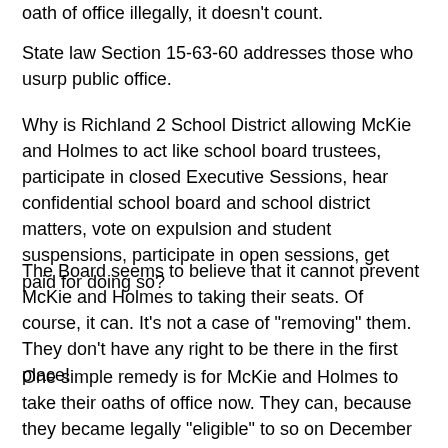oath of office illegally, it doesn't count.
State law Section 15-63-60 addresses those who usurp public office.
Why is Richland 2 School District allowing McKie and Holmes to act like school board trustees, participate in closed Executive Sessions, hear confidential school board and school district matters, vote on expulsion and student suspensions, participate in open sessions, get paid for doing so?
The Board seems to believe that it cannot prevent McKie and Holmes to taking their seats. Of course, it can. It's not a case of "removing" them. They don't have any right to be there in the first place!
One simple remedy is for McKie and Holmes to take their oaths of office now. They can, because they became legally "eligible" to so on December 4, 2018, after they filed their SEIs.
However, this will create a huge problem for the Board...